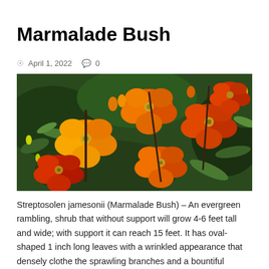Marmalade Bush
April 1, 2022   0
[Figure (photo): Close-up photograph of Marmalade Bush (Streptosolen jamesonii) showing vibrant orange, red, and yellow bell-shaped flowers with green foliage in the background.]
Streptosolen jamesonii (Marmalade Bush) – An evergreen rambling, shrub that without support will grow 4-6 feet tall and wide; with support it can reach 15 feet. It has oval-shaped 1 inch long leaves with a wrinkled appearance that densely clothe the sprawling branches and a bountiful display of large 5-inch orange, bell-shaped flowers bloom at the terminal ends of the …